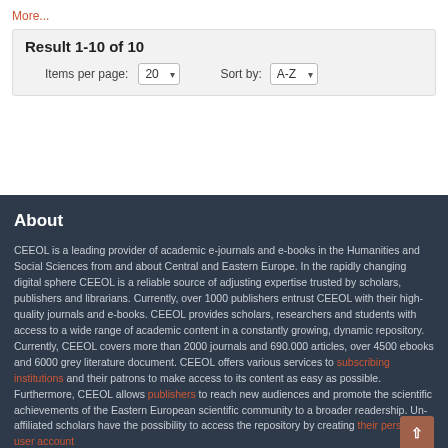More...
Result 1-10 of 10
Items per page: 20   Sort by: A-Z
About
CEEOL is a leading provider of academic e-journals and e-books in the Humanities and Social Sciences from and about Central and Eastern Europe. In the rapidly changing digital sphere CEEOL is a reliable source of adjusting expertise trusted by scholars, publishers and librarians. Currently, over 1000 publishers entrust CEEOL with their high-quality journals and e-books. CEEOL provides scholars, researchers and students with access to a wide range of academic content in a constantly growing, dynamic repository. Currently, CEEOL covers more than 2000 journals and 690.000 articles, over 4500 ebooks and 6000 grey literature document. CEEOL offers various services to subscribing institutions and their patrons to make access to its content as easy as possible. Furthermore, CEEOL allows publishers to reach new audiences and promote the scientific achievements of the Eastern European scientific community to a broader readership. Un-affiliated scholars have the possibility to access the repository by creating their personal user account